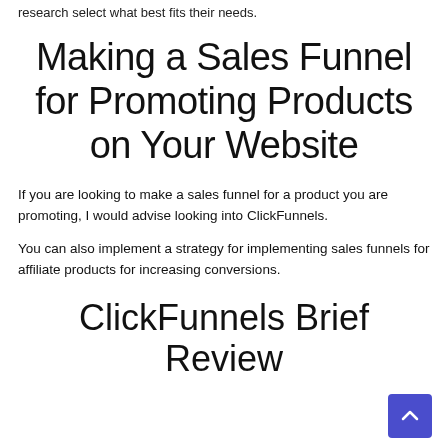research select what best fits their needs.
Making a Sales Funnel for Promoting Products on Your Website
If you are looking to make a sales funnel for a product you are promoting, I would advise looking into ClickFunnels.
You can also implement a strategy for implementing sales funnels for affiliate products for increasing conversions.
ClickFunnels Brief Review